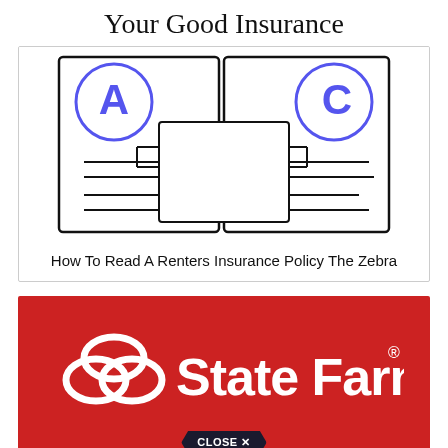Your Good Insurance
[Figure (illustration): Illustration of insurance documents with letters A and C in blue circles and a white document overlay, representing a renters insurance policy]
How To Read A Renters Insurance Policy The Zebra
[Figure (logo): State Farm logo on red background with white State Farm text and three interlocking oval logo mark, with a CLOSE X button at the bottom]